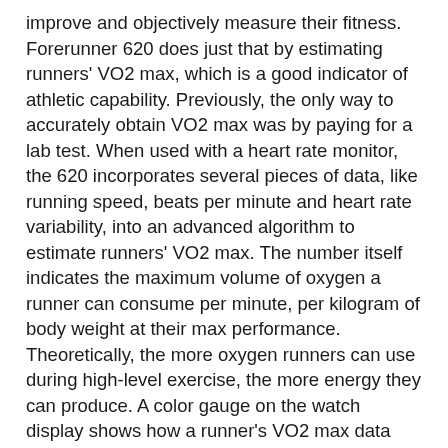improve and objectively measure their fitness. Forerunner 620 does just that by estimating runners' VO2 max, which is a good indicator of athletic capability. Previously, the only way to accurately obtain VO2 max was by paying for a lab test. When used with a heart rate monitor, the 620 incorporates several pieces of data, like running speed, beats per minute and heart rate variability, into an advanced algorithm to estimate runners' VO2 max. The number itself indicates the maximum volume of oxygen a runner can consume per minute, per kilogram of body weight at their max performance. Theoretically, the more oxygen runners can use during high-level exercise, the more energy they can produce. A color gauge on the watch display shows how a runner's VO2 max data compares to other individuals of their gender and age range. Based on the VO2 max estimate, the 620 can predict a runner's race time for several distances. This can give runners a time target for their next race, assuming they've completed proper training.
When wearing HRM-Run, Forerunner 620's NEW recovery advisor and recovery check take the guesswork out when it comes to planning recovery time between hard workouts.